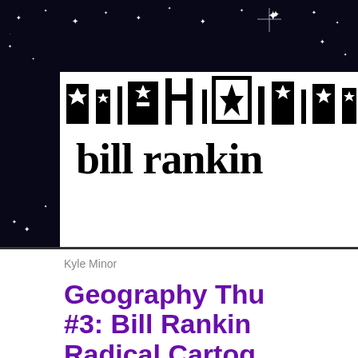[Figure (illustration): Dark starry night sky background with white stars scattered throughout, serving as decorative page header background]
bill rankin
Kyle Minor
Geography Thu #3: Bill Rankin Radical Cartog